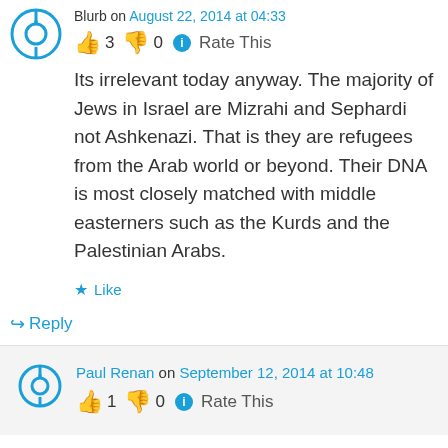Blurb on August 22, 2014 at 04:33
👍 3 👎 0 ℹ Rate This
Its irrelevant today anyway. The majority of Jews in Israel are Mizrahi and Sephardi not Ashkenazi. That is they are refugees from the Arab world or beyond. Their DNA is most closely matched with middle easterners such as the Kurds and the Palestinian Arabs.
★ Like
↪ Reply
Paul Renan on September 12, 2014 at 10:48
👍 1 👎 0 ℹ Rate This